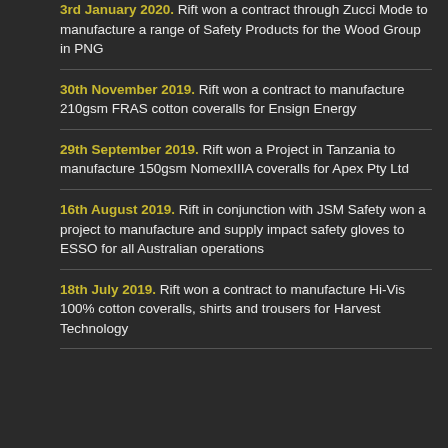3rd January 2020. Rift won a contract through Zucci Mode to manufacture a range of Safety Products for the Wood Group in PNG
30th November 2019. Rift won a contract to manufacture 210gsm FRAS cotton coveralls for Ensign Energy
29th September 2019. Rift won a Project in Tanzania to manufacture 150gsm NomexIIIA coveralls for Apex Pty Ltd
16th August 2019. Rift in conjunction with JSM Safety won a project to manufacture and supply impact safety gloves to ESSO for all Australian operations
18th July 2019. Rift won a contract to manufacture Hi-Vis 100% cotton coveralls, shirts and trousers for Harvest Technology